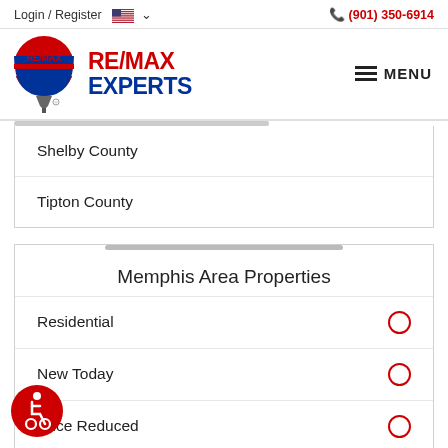Login / Register  (901) 350-6914
[Figure (logo): RE/MAX Experts logo with balloon icon and red and blue RE/MAX EXPERTS text]
Shelby County
Tipton County
Memphis Area Properties
Residential
New Today
Price Reduced